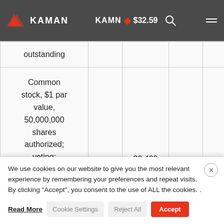KAMN · $32.59
|  |  |  |  |  |
| --- | --- | --- | --- | --- |
| outstanding |  |  |  |  |
| Common stock, $1 par value, 50,000,000 shares authorized; voting; |  | 30,400 |  | 30,279 |
We use cookies on our website to give you the most relevant experience by remembering your preferences and repeat visits. By clicking "Accept", you consent to the use of ALL the cookies. .